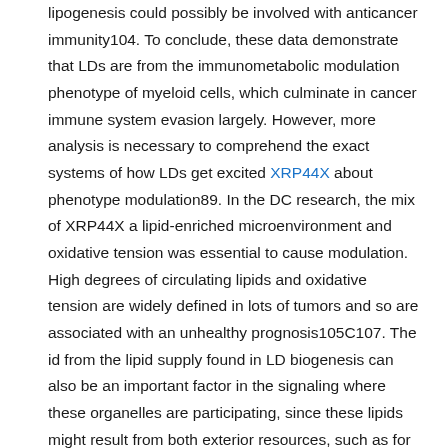lipogenesis could possibly be involved with anticancer immunity104. To conclude, these data demonstrate that LDs are from the immunometabolic modulation phenotype of myeloid cells, which culminate in cancer immune system evasion largely. However, more analysis is necessary to comprehend the exact systems of how LDs get excited XRP44X about phenotype modulation89. In the DC research, the mix of XRP44X a lipid-enriched microenvironment and oxidative tension was essential to cause modulation. High degrees of circulating lipids and oxidative tension are widely defined in lots of tumors and so are associated with an unhealthy prognosis105C107. The id from the lipid supply found in LD biogenesis can also be an important factor in the signaling where these organelles are participating, since these lipids might result from both exterior resources, such as for example tumor cells and adipose tissues, and from intracellular resources, such as for example de novo autophagy or synthesis. Surprisingly, cell free of charge LDs were defined within XRP44X a 3D bioengineered human brain